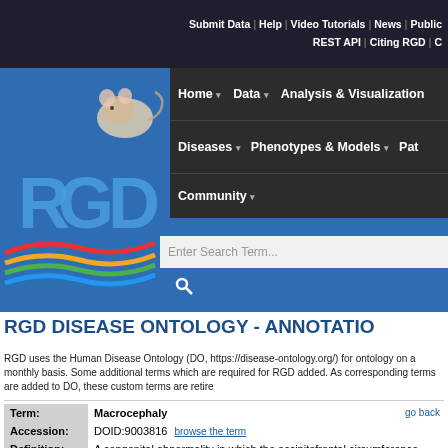Submit Data | Help | Video Tutorials | News | Public | REST API | Citing RGD | C
[Figure (logo): RGD (Rat Genome Database) logo with rat image and colorful wave graphic on blue background]
Home ▾   Data ▾   Analysis & Visualization   Diseases ▾   Phenotypes & Models ▾   Pat   Community ▾
RGD DISEASE ONTOLOGY - ANNOTATIO
RGD uses the Human Disease Ontology (DO, https://disease-ontology.org/) for ontology on a monthly basis. Some additional terms which are required for RGD added. As corresponding terms are added to DO, these custom terms are retire
| Field | Value |
| --- | --- |
| Term: | Macrocephaly |
| Accession: | DOID:9003816 |
| Definition: | A congenital abnormality in which the occipitofrontal circumference age. It is associated with HYDROCEPHALUS; SUBDURAL EFFUS |